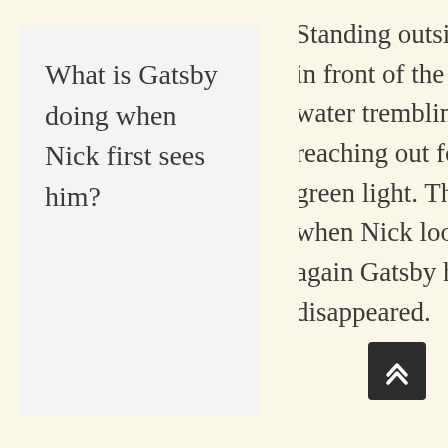What is Gatsby doing when Nick first sees him?
Standing outside in front of the water trembling reaching out for a green light. Then when Nick looks again Gatsby has disappeared.
Notice how Fitzgerald uses the words hope, or dream. Why does he do this?
Because a theme of the book is relating to how every character has their aspirations and wants which also represents the American dream of this era.